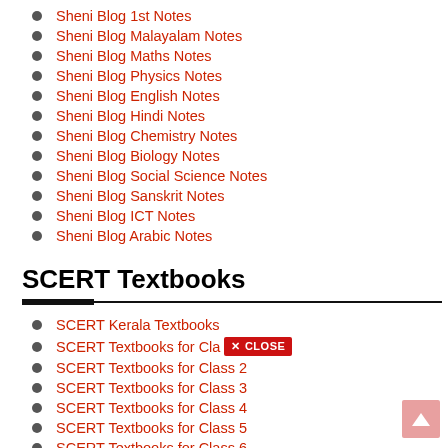Sheni Blog 1st Notes
Sheni Blog Malayalam Notes
Sheni Blog Maths Notes
Sheni Blog Physics Notes
Sheni Blog English Notes
Sheni Blog Hindi Notes
Sheni Blog Chemistry Notes
Sheni Blog Biology Notes
Sheni Blog Social Science Notes
Sheni Blog Sanskrit Notes
Sheni Blog ICT Notes
Sheni Blog Arabic Notes
SCERT Textbooks
SCERT Kerala Textbooks
SCERT Textbooks for Cl… [CLOSE]
SCERT Textbooks for Class 2
SCERT Textbooks for Class 3
SCERT Textbooks for Class 4
SCERT Textbooks for Class 5
SCERT Textbooks for Class 6